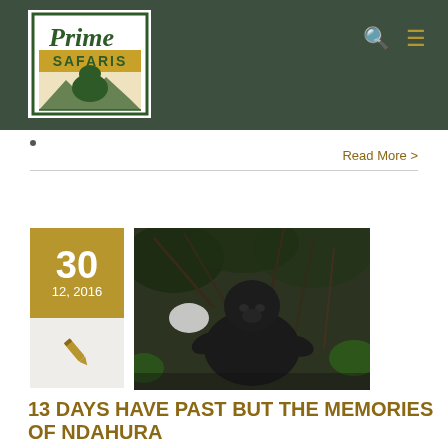[Figure (logo): Prime Safaris logo with gorilla illustration, green and gold color scheme]
Read More >
[Figure (photo): A black mountain gorilla sitting among vegetation in a forest]
30
12, 2016
13 DAYS HAVE PAST BUT THE MEMORIES OF NDAHURA